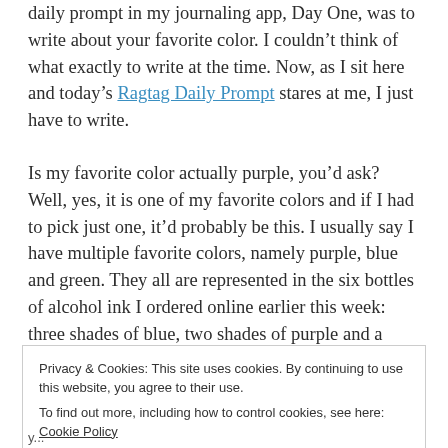daily prompt in my journaling app, Day One, was to write about your favorite color. I couldn't think of what exactly to write at the time. Now, as I sit here and today's Ragtag Daily Prompt stares at me, I just have to write.
Is my favorite color actually purple, you'd ask? Well, yes, it is one of my favorite colors and if I had to pick just one, it'd probably be this. I usually say I have multiple favorite colors, namely purple, blue and green. They all are represented in the six bottles of alcohol ink I ordered online earlier this week: three shades of blue, two shades of purple and a shade of greenish blue too.
Privacy & Cookies: This site uses cookies. By continuing to use this website, you agree to their use. To find out more, including how to control cookies, see here: Cookie Policy
Close and accept